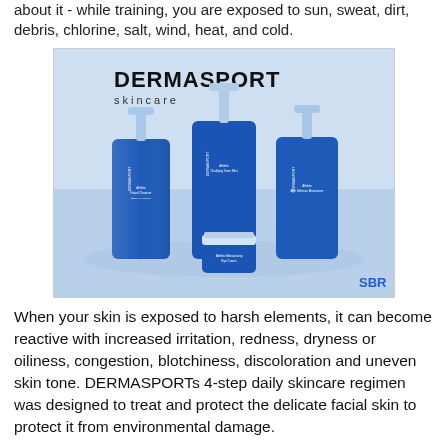about it - while training, you are exposed to sun, sweat, dirt, debris, chlorine, salt, wind, heat, and cold.
[Figure (photo): Product photo of DERMASPORT skincare line showing four blue bottles/containers with pump dispensers on a light blue background, with 'SBR' text in lower right corner.]
When your skin is exposed to harsh elements, it can become reactive with increased irritation, redness, dryness or oiliness, congestion, blotchiness, discoloration and uneven skin tone. DERMASPORTs 4-step daily skincare regimen was designed to treat and protect the delicate facial skin to protect it from environmental damage.